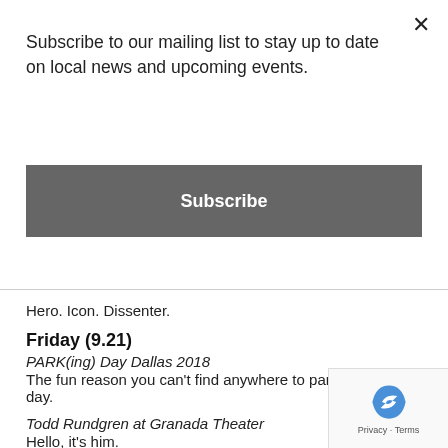Subscribe to our mailing list to stay up to date on local news and upcoming events.
Subscribe
Hero. Icon. Dissenter.
Friday (9.21)
PARK(ing) Day Dallas 2018
The fun reason you can't find anywhere to park at work that day.
Todd Rundgren at Granada Theater
Hello, it's him.
Greek Food Festival of Dallas 2018 at Holy Trinity Greek Orthodox Church
My big fat Greek waistline.
Scratch Sessions: Just Blaze at It'll Do Club
The make-up date.